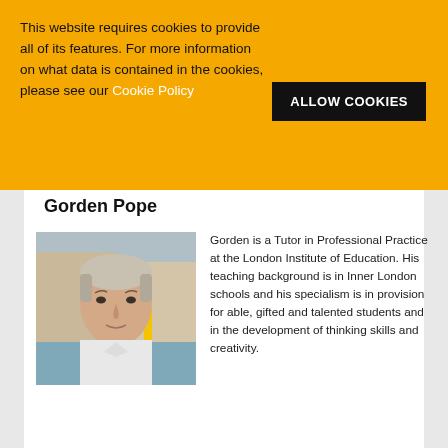This website requires cookies to provide all of its features. For more information on what data is contained in the cookies, please see our Cookie Policy
ALLOW COOKIES
Gorden Pope
[Figure (photo): Headshot of Gorden Pope, a middle-aged bald man in a white shirt, photographed outdoors]
Gorden is a Tutor in Professional Practice at the London Institute of Education. His teaching background is in Inner London schools and his specialism is in provision for able, gifted and talented students and in the development of thinking skills and creativity.